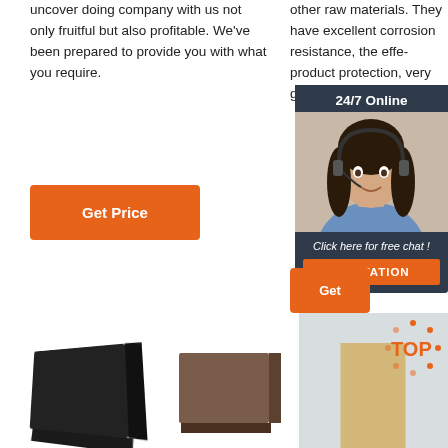uncover doing company with us not only fruitful but also profitable. We've been prepared to provide you with what you require.
other raw materials. They have excellent corrosion resistance, the effect of product protection, very good strength, wear resistance, low ...
Get Price
[Figure (photo): Customer service representative with headset, 24/7 Online chat overlay panel with QUOTATION button]
Get
[Figure (photo): Dark charcoal/black refractory brick product image]
[Figure (photo): Brown refractory brick product image]
[Figure (photo): Tan/light-colored refractory brick product image with TOP badge overlay]